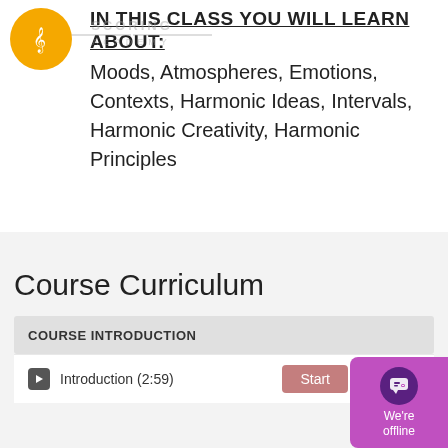[Figure (logo): Yellow circular badge with a treble clef music note icon, representing Scoring Academy logo]
IN THIS CLASS YOU WILL LEARN ABOUT:
Moods, Atmospheres, Emotions, Contexts, Harmonic Ideas, Intervals, Harmonic Creativity, Harmonic Principles
Course Curriculum
COURSE INTRODUCTION
Introduction (2:59)
[Figure (screenshot): Chat widget showing We're offline message with purple background and chat icon]